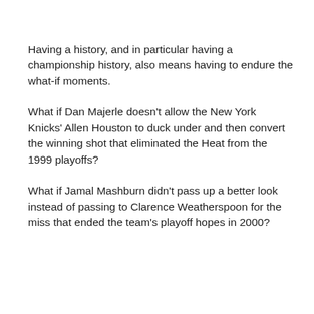Having a history, and in particular having a championship history, also means having to endure the what-if moments.
What if Dan Majerle doesn’t allow the New York Knicks’ Allen Houston to duck under and then convert the winning shot that eliminated the Heat from the 1999 playoffs?
What if Jamal Mashburn didn’t pass up a better look instead of passing to Clarence Weatherspoon for the miss that ended the team’s playoff hopes in 2000?